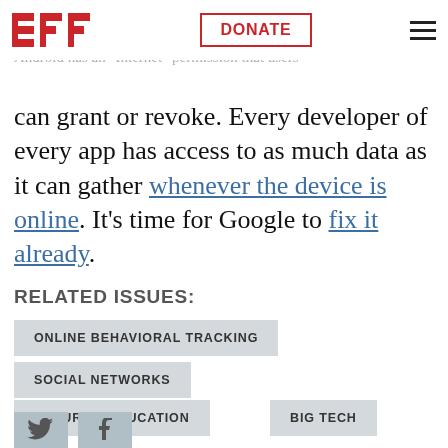EFF | DONATE | hamburger menu
should be able to decide which apps can and can't 
control over the network, but neither iOS nor 
Android has an “Internet” permission that users can grant or revoke. Every developer of every app has access to as much data as it can gather whenever the device is online. It’s time for Google to fix it already.
RELATED ISSUES:
ONLINE BEHAVIORAL TRACKING
SOCIAL NETWORKS
SECURITY EDUCATION
BIG TECH
[Figure (other): Social media share icons (Twitter and Facebook) partially visible at bottom of page]